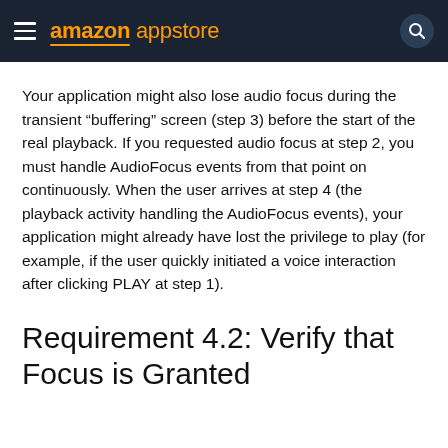amazon appstore
Your application might also lose audio focus during the transient “buffering” screen (step 3) before the start of the real playback. If you requested audio focus at step 2, you must handle AudioFocus events from that point on continuously. When the user arrives at step 4 (the playback activity handling the AudioFocus events), your application might already have lost the privilege to play (for example, if the user quickly initiated a voice interaction after clicking PLAY at step 1).
Requirement 4.2: Verify that Focus is Granted